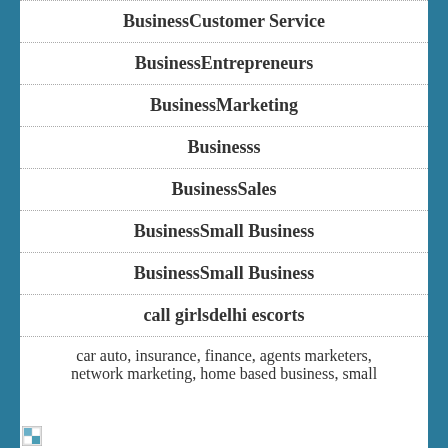BusinessCustomer Service
BusinessEntrepreneurs
BusinessMarketing
Businesss
BusinessSales
BusinessSmall Business
BusinessSmall Business
call girlsdelhi escorts
car auto, insurance, finance, agents marketers, network marketing, home based business, small